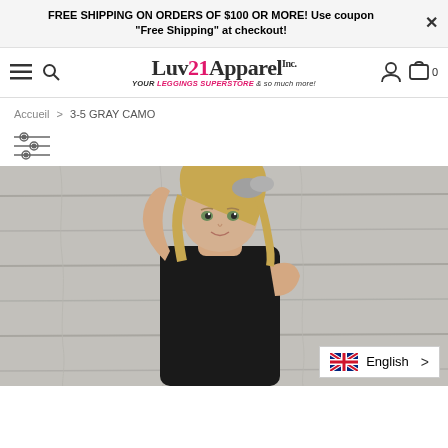FREE SHIPPING ON ORDERS OF $100 OR MORE! Use coupon "Free Shipping" at checkout!
[Figure (logo): Luv21Apparel Inc. logo with tagline YOUR LEGGINGS SUPERSTORE & so much more!]
Accueil > 3-5 GRAY CAMO
[Figure (screenshot): Filter/sort icon (three horizontal sliders)]
[Figure (photo): Young blonde girl wearing a black outfit, posing with one arm raised, against a gray wood plank background]
English